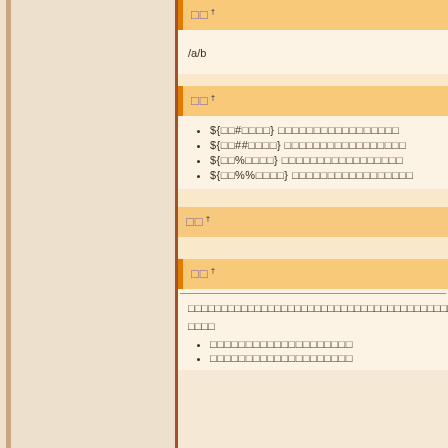□□ †
/a/b
□□ †
${□□#□□□□} □□□□□□□□□□□□□□□□□
${□□##□□□□} □□□□□□□□□□□□□□□□□
${□□%□□□□} □□□□□□□□□□□□□□□□□
${□□%%□□□□} □□□□□□□□□□□□□□□□□
□□ †
□□ †
□□□□□□□□□□□□□□□□□□□□□□□□□□□□□□□□□□□□□□□□□□□□□□□□□□□□□□□□□□□□
□□□□
□□□□□□□□□□□□□□□□□□□□
□□□□□□□□□□□□□□□□□□□□